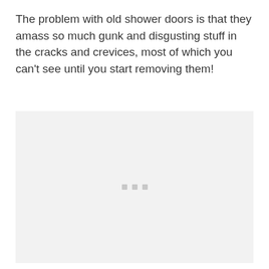The problem with old shower doors is that they amass so much gunk and disgusting stuff in the cracks and crevices, most of which you can't see until you start removing them!
[Figure (photo): A light gray placeholder image area with three small gray square dots centered near the lower-middle portion of the image area, indicating a loading or missing image.]